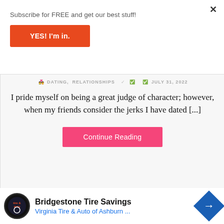Subscribe for FREE and get our best stuff!
YES! I'm in.
DATING,  RELATIONSHIPS   JULY 31, 2022
I pride myself on being a great judge of character; however, when my friends consider the jerks I have dated [...]
Continue Reading
Bridgestone Tire Savings
Virginia Tire & Auto of Ashburn ...